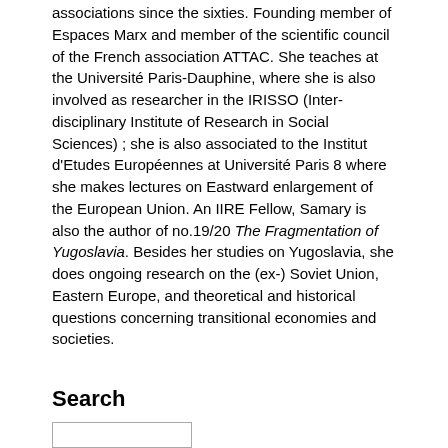associations since the sixties. Founding member of Espaces Marx and member of the scientific council of the French association ATTAC. She teaches at the Université Paris-Dauphine, where she is also involved as researcher in the IRISSO (Inter-disciplinary Institute of Research in Social Sciences) ; she is also associated to the Institut d'Etudes Européennes at Université Paris 8 where she makes lectures on Eastward enlargement of the European Union. An IIRE Fellow, Samary is also the author of no.19/20 The Fragmentation of Yugoslavia. Besides her studies on Yugoslavia, she does ongoing research on the (ex-) Soviet Union, Eastern Europe, and theoretical and historical questions concerning transitional economies and societies.
Search
Support us
[Figure (illustration): Donate! text in large bold red italic letters]